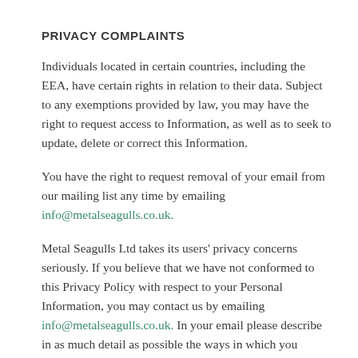PRIVACY COMPLAINTS
Individuals located in certain countries, including the EEA, have certain rights in relation to their data. Subject to any exemptions provided by law, you may have the right to request access to Information, as well as to seek to update, delete or correct this Information.
You have the right to request removal of your email from our mailing list any time by emailing info@metalseagulls.co.uk.
Metal Seagulls Ltd takes its users' privacy concerns seriously. If you believe that we have not conformed to this Privacy Policy with respect to your Personal Information, you may contact us by emailing info@metalseagulls.co.uk. In your email please describe in as much detail as possible the ways in which you believe that the our Privacy Policy has not been complied with. We will investigate your